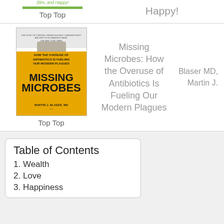Slim, and Happy!
Happy!
Top Top
[Figure (illustration): Book cover of 'Missing Microbes: How the Overuse of Antibiotics Is Fueling Our Modern Plagues' by Martin J. Blaser, MD. Orange prescription bottle with text overlaid.]
Missing Microbes: How the Overuse of Antibiotics Is Fueling Our Modern Plagues
Blaser MD, Martin J.
Top Top
Table of Contents
1. Wealth
2. Love
3. Happiness